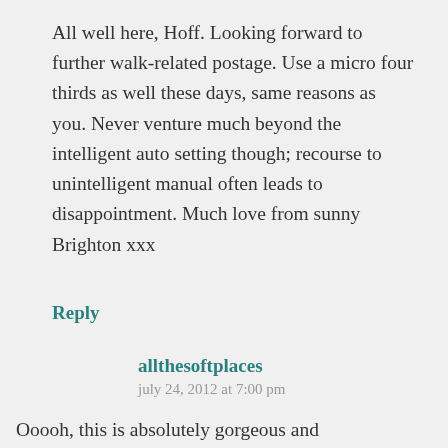All well here, Hoff. Looking forward to further walk-related postage. Use a micro four thirds as well these days, same reasons as you. Never venture much beyond the intelligent auto setting though; recourse to unintelligent manual often leads to disappointment. Much love from sunny Brighton xxx
Reply
allthesoftplaces
july 24, 2012 at 7:00 pm
Ooooh, this is absolutely gorgeous and